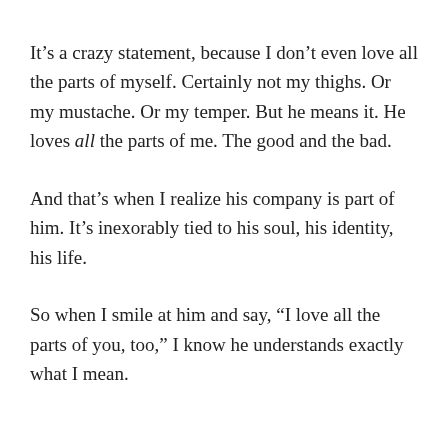It’s a crazy statement, because I don’t even love all the parts of myself. Certainly not my thighs. Or my mustache. Or my temper. But he means it. He loves all the parts of me. The good and the bad.
And that’s when I realize his company is part of him. It’s inexorably tied to his soul, his identity, his life.
So when I smile at him and say, “I love all the parts of you, too,” I know he understands exactly what I mean.